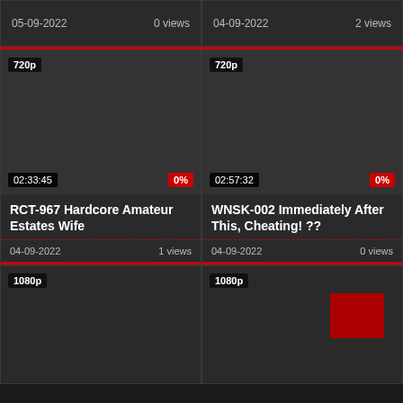05-09-2022   0 views
04-09-2022   2 views
[Figure (screenshot): Video thumbnail dark background with 720p badge, duration 02:33:45, 0% progress badge]
RCT-967 Hardcore Amateur Estates Wife
04-09-2022   1 views
[Figure (screenshot): Video thumbnail dark background with 720p badge, duration 02:57:32, 0% progress badge]
WNSK-002 Immediately After This, Cheating! ??
04-09-2022   0 views
[Figure (screenshot): Video thumbnail dark background with 1080p badge]
[Figure (screenshot): Video thumbnail dark background with 1080p badge and red rectangle overlay]